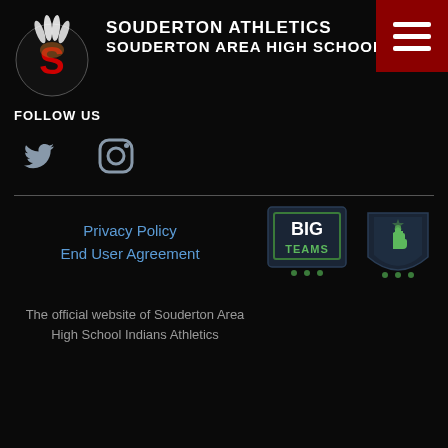SOUDERTON ATHLETICS SOUDERTON AREA HIGH SCHOOL
FOLLOW US
[Figure (logo): Twitter bird icon (social media logo) in gray]
[Figure (logo): Instagram camera icon (social media logo) in gray]
Privacy Policy
End User Agreement
[Figure (logo): BigTeams logo badge - dark navy shield with BIG TEAMS text]
[Figure (logo): Number 1 finger sports badge logo in dark navy]
The official website of Souderton Area High School Indians Athletics